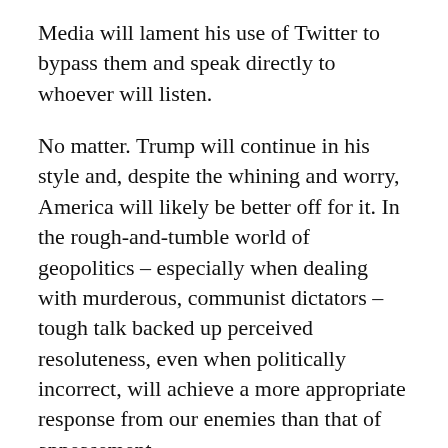Media will lament his use of Twitter to bypass them and speak directly to whoever will listen.
No matter. Trump will continue in his style and, despite the whining and worry, America will likely be better off for it. In the rough-and-tumble world of geopolitics – especially when dealing with murderous, communist dictators – tough talk backed up perceived resoluteness, even when politically incorrect, will achieve a more appropriate response from our enemies than that of appeasement.
Kim has commonly referred to the U.S. as deserving of nuclear bloodbaths. Intelligence analysts have surmised that, though he may be rational, as opposed to insane, he is also deluded about the actual military might of America and what would